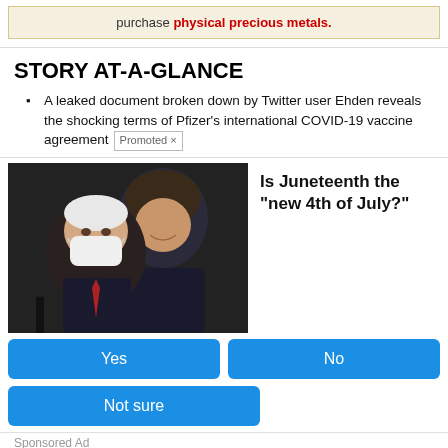purchase physical precious metals.
STORY AT-A-GLANCE
A leaked document broken down by Twitter user Ehden reveals the shocking terms of Pfizer's international COVID-19 vaccine agreement  Promoted ×
[Figure (photo): Photo of two political figures, one wearing a white mask, smiling, at an indoor event]
Is Juneteenth the "new 4th of July?"
Yes
No
Not sure
Sponsored Ad